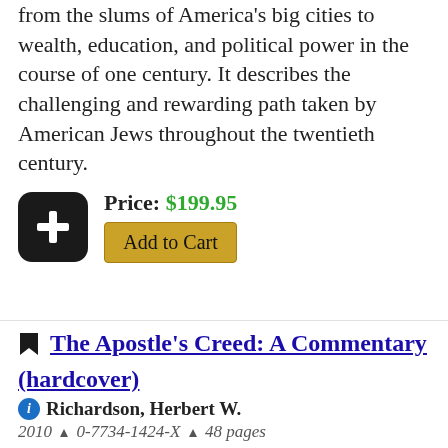from the slums of America's big cities to wealth, education, and political power in the course of one century. It describes the challenging and rewarding path taken by American Jews throughout the twentieth century.
Price: $199.95 Add to Cart
The Apostle's Creed: A Commentary (hardcover)
Richardson, Herbert W.
2010 · 0-7734-1424-X · 48 pages
To the Reader:
This commentary aims to provide a basic grammar of Christian religious discourse. It proposes definitions, correlations, and